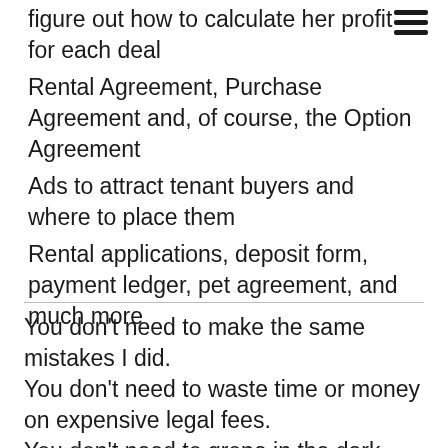figure out how to calculate her profit for each deal
Rental Agreement, Purchase Agreement and, of course, the Option Agreement
Ads to attract tenant buyers and where to place them
Rental applications, deposit form, payment ledger, pet agreement, and much more
You don't need to make the same mistakes I did.
You don't need to waste time or money on expensive legal fees.
You don't need to grope in the dark looking for information all over the web on how to start a